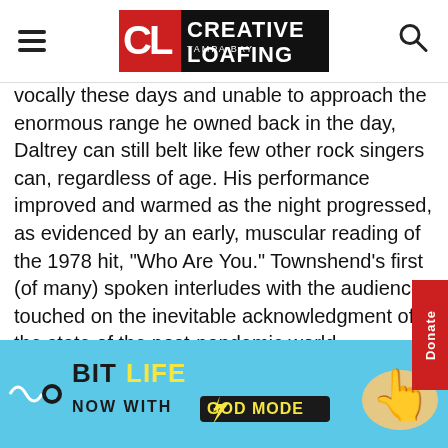Creative Loafing Tampa Bay (navigation header with logo, hamburger menu, and search icon)
vocally these days and unable to approach the enormous range he owned back in the day, Daltrey can still belt like few other rock singers can, regardless of age. His performance improved and warmed as the night progressed, as evidenced by an early, muscular reading of the 1978 hit, “Who Are You.” Townshend’s first (of many) spoken interludes with the audience touched on the inevitable acknowledgment of the state of the post-pandemic world.
“This may be the first concert you’ve seen in a while,” Townshend mentioned. “I hope it feels good,” he concluded
[Figure (illustration): BitLife advertisement banner: blue background with BitLife logo, text 'NOW WITH GOD MODE', cartoon hand pointing finger, lightning bolt graphic. Close and help buttons in top right corner.]